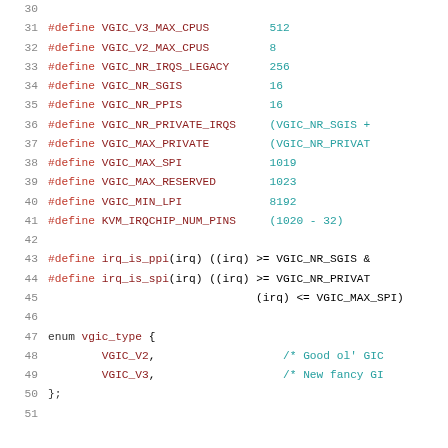Source code listing lines 30-51 showing C preprocessor #define macros and enum definition for VGIC (Virtual Generic Interrupt Controller) constants and type definitions.